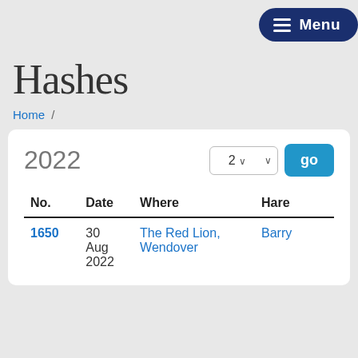Menu
Hashes
Home /
| No. | Date | Where | Hare |
| --- | --- | --- | --- |
| 1650 | 30 Aug 2022 | The Red Lion, Wendover | Barry |